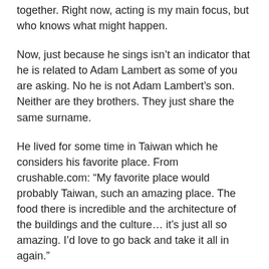together. Right now, acting is my main focus, but who knows what might happen.
Now, just because he sings isn't an indicator that he is related to Adam Lambert as some of you are asking. No he is not Adam Lambert's son. Neither are they brothers. They just share the same surname.
He lived for some time in Taiwan which he considers his favorite place. From crushable.com: “My favorite place would probably Taiwan, such an amazing place. The food there is incredible and the architecture of the buildings and the culture… it’s just all so amazing. I’d love to go back and take it all in again.”